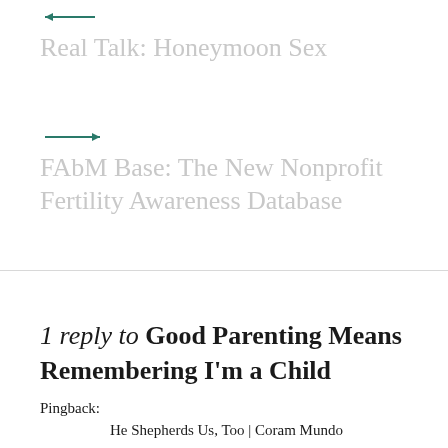← Real Talk: Honeymoon Sex
→ FAbM Base: The New Nonprofit Fertility Awareness Database
1 reply to Good Parenting Means Remembering I'm a Child
Pingback:
He Shepherds Us, Too | Coram Mundo